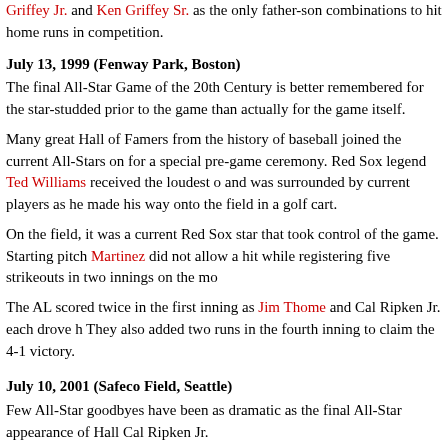Griffey Jr. and Ken Griffey Sr. as the only father-son combinations to hit home runs in competition.
July 13, 1999 (Fenway Park, Boston)
The final All-Star Game of the 20th Century is better remembered for the star-studded prior to the game than actually for the game itself.
Many great Hall of Famers from the history of baseball joined the current All-Stars on for a special pre-game ceremony. Red Sox legend Ted Williams received the loudest o and was surrounded by current players as he made his way onto the field in a golf cart.
On the field, it was a current Red Sox star that took control of the game. Starting pitch Martinez did not allow a hit while registering five strikeouts in two innings on the mo
The AL scored twice in the first inning as Jim Thome and Cal Ripken Jr. each drove h They also added two runs in the fourth inning to claim the 4-1 victory.
July 10, 2001 (Safeco Field, Seattle)
Few All-Star goodbyes have been as dramatic as the final All-Star appearance of Hall Cal Ripken Jr.
Having previously announced his retirement, Ripken was elected as the starting third b However, when the game started, shortstop Alex Rodriguez encouraged Ripken to swi positions and return to the shortstop spot where he earned 14 of his 19 straight All-Sta